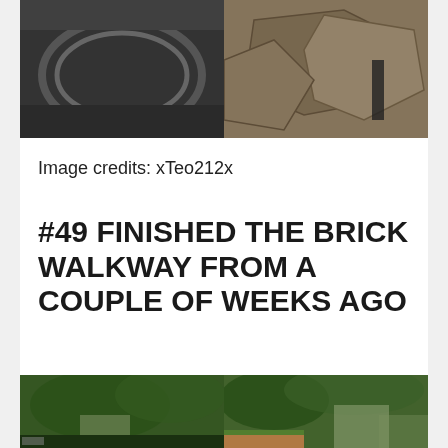[Figure (photo): Two photos side by side: left shows a dark circular metal object on ground, right shows flat stone/slate pieces]
Image credits: xTeo212x
#49 FINISHED THE BRICK WALKWAY FROM A COUPLE OF WEEKS AGO
[Figure (photo): Two photos side by side showing a house surrounded by dense green trees and a brick walkway visible in the right photo]